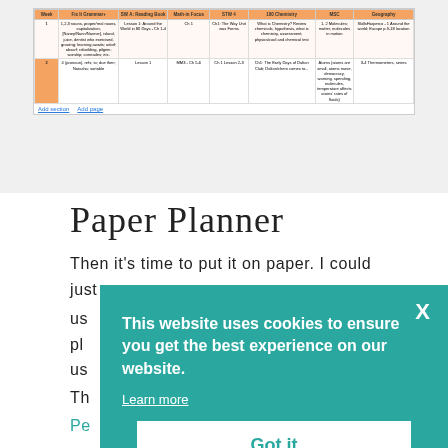[Figure (screenshot): Screenshot of a weekly planner table with columns: Week, Fix It Grammar+, SW A: Reading Book, Math-in-Focus, STW 4, 100 Chemistry, MSC, Geography. Shows two rows of weekly curriculum plans.]
Paper Planner
Then it’s time to put it on paper. I could just
us[obscured by cookie overlay]
pl[obscured by cookie overlay]
us[obscured by cookie overlay]
Th[obscured by cookie overlay]
Pe[obscured, teal link]
so[obscured by cookie overlay]
This website uses cookies to ensure you get the best experience on our website. Learn more Got it